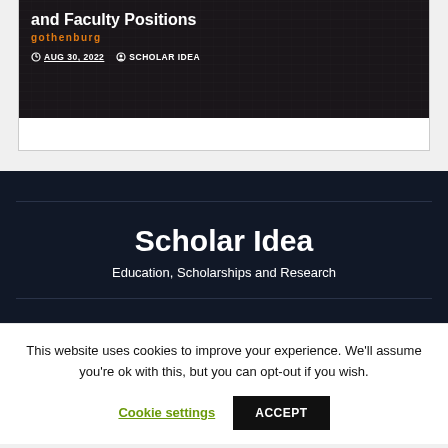[Figure (photo): University building banner image with overlaid text showing 'and Faculty Positions' title, 'gothenburg' subtitle in orange, date AUG 30, 2022 and SCHOLAR IDEA author tag]
Scholar Idea
Education, Scholarships and Research
This website uses cookies to improve your experience. We'll assume you're ok with this, but you can opt-out if you wish.
Cookie settings   ACCEPT